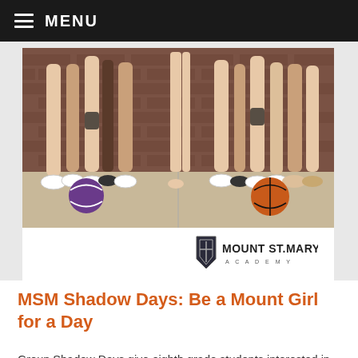MENU
[Figure (photo): Photograph showing the legs and feet of several girls sitting against a brick wall, with a volleyball and basketball on the floor beside them.]
[Figure (logo): Mount St. Mary Academy logo: a shield crest on the left and the text 'MOUNT ST. MARY ACADEMY' on the right.]
MSM Shadow Days: Be a Mount Girl for a Day
Group Shadow Days give eighth grade students interested in Mount St. Mary Academy the chance to experience a typical class day and the Mount sisterhood firsthand! Each "Mount